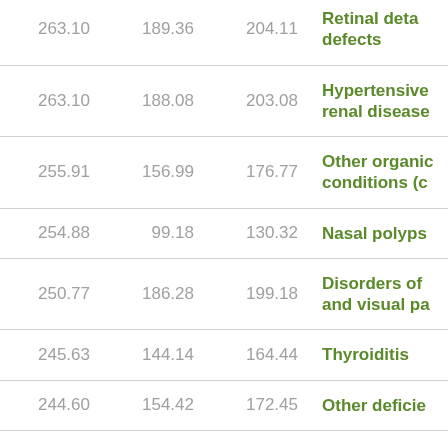| Col1 | Col2 | Col3 | Condition |
| --- | --- | --- | --- |
| 263.10 | 189.36 | 204.11 | Retinal detachments and defects |
| 263.10 | 188.08 | 203.08 | Hypertensive renal disease |
| 255.91 | 156.99 | 176.77 | Other organic conditions (c...) |
| 254.88 | 99.18 | 130.32 | Nasal polyps |
| 250.77 | 186.28 | 199.18 | Disorders of eye and visual pa... |
| 245.63 | 144.14 | 164.44 | Thyroiditis |
| 244.60 | 154.42 | 172.45 | Other deficie... |
| 244.60 | 173.17 | 187.46 | Hypertensive... |